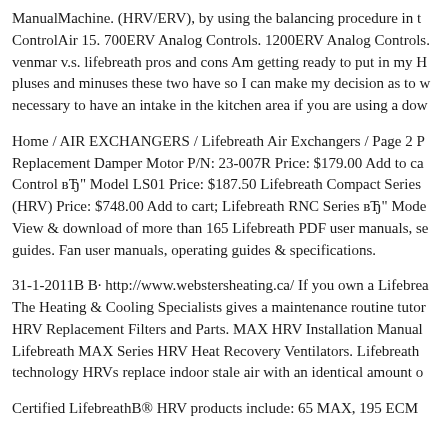ManualMachine. (HRV/ERV), by using the balancing procedure in the ControlAir 15. 700ERV Analog Controls. 1200ERV Analog Controls. venmar v.s. lifebreath pros and cons Am getting ready to put in my H pluses and minuses these two have so I can make my decision as to w necessary to have an intake in the kitchen area if you are using a dow
Home / AIR EXCHANGERS / Lifebreath Air Exchangers / Page 2 P Replacement Damper Motor P/N: 23-007R Price: $179.00 Add to ca Control вЂ" Model LS01 Price: $187.50 Lifebreath Compact Series (HRV) Price: $748.00 Add to cart; Lifebreath RNC Series вЂ" Mode View & download of more than 165 Lifebreath PDF user manuals, se guides. Fan user manuals, operating guides & specifications.
31-1-2011B B· http://www.webstersheating.ca/ If you own a Lifebrea The Heating & Cooling Specialists gives a maintenance routine tutor HRV Replacement Filters and Parts. MAX HRV Installation Manual Lifebreath MAX Series HRV Heat Recovery Ventilators. Lifebreath technology HRVs replace indoor stale air with an identical amount o
Certified LifebreathB® HRV products include: 65 MAX, 195 ECM